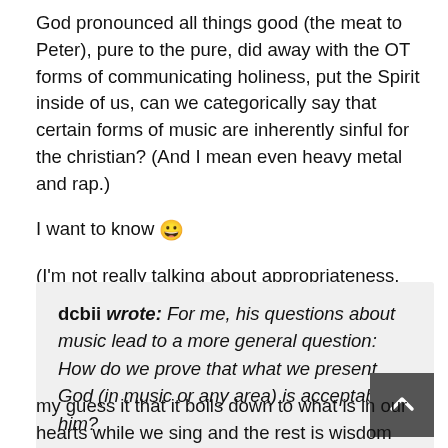God pronounced all things good (the meat to Peter), pure to the pure, did away with the OT forms of communicating holiness, put the Spirit inside of us, can we categorically say that certain forms of music are inherently sinful for the christian? (And I mean even heavy metal and rap.)
I want to know 😀
(I'm not really talking about appropriateness, singability, etc, yet.)
dcbii wrote: For me, his questions about music lead to a more general question: How do we prove that what we present God (in music or any area) is acceptable to him?
my guess it that it boils down to what is in our hearts while we sing and the rest is wisdom questions about (corporate